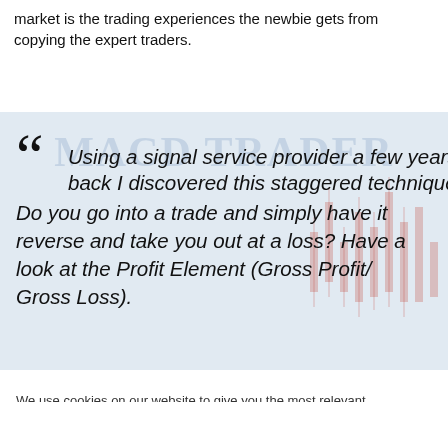market is the trading experiences the newbie gets from copying the expert traders.
[Figure (illustration): Quote block with trading chart background (MACD Trader watermark). Italic quote text reads: Using a signal service provider a few years back I discovered this staggered technique. Do you go into a trade and simply have it reverse and take you out at a loss? Have a look at the Profit Element (Gross Profit/ Gross Loss).]
We use cookies on our website to give you the most relevant experience by remembering your preferences and repeat visits. By clicking "Accept All", you consent to the use of ALL the cookies. However, you may visit "Cookie Settings" to provide a controlled consent.
Cookie Settings  Accept All